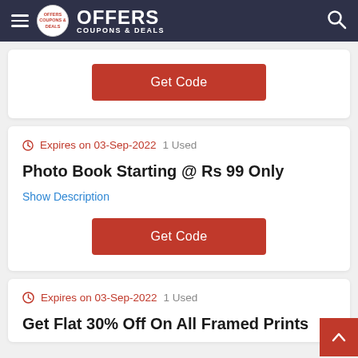OFFERS COUPONS & DEALS
Get Code
Expires on 03-Sep-2022   1 Used
Photo Book Starting @ Rs 99 Only
Show Description
Get Code
Expires on 03-Sep-2022   1 Used
Get Flat 30% Off On All Framed Prints